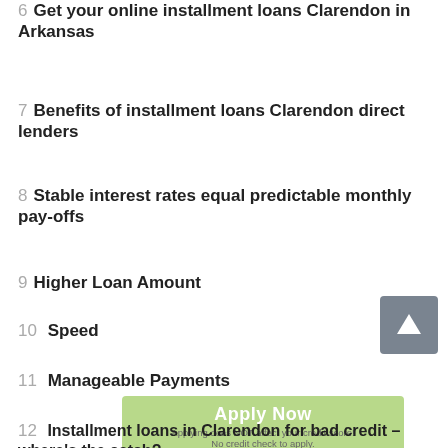6  Get your online installment loans Clarendon in Arkansas
7  Benefits of installment loans Clarendon direct lenders
8  Stable interest rates equal predictable monthly pay-offs
9  Higher Loan Amount
10  Speed
11  Manageable Payments
12  Installment loans in Clarendon for bad credit – where's the catch?
13  Unbending Conditions
14  Long-term online installment loans in Clarendon of Arkansas higher interests